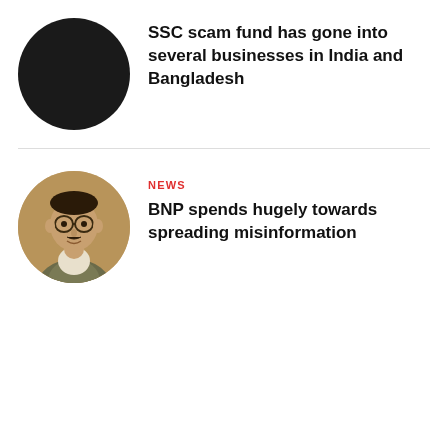[Figure (photo): Circular avatar placeholder with black fill]
SSC scam fund has gone into several businesses in India and Bangladesh
NEWS
[Figure (photo): Circular photo of a man in a grey vest and white shirt, seated]
BNP spends hugely towards spreading misinformation